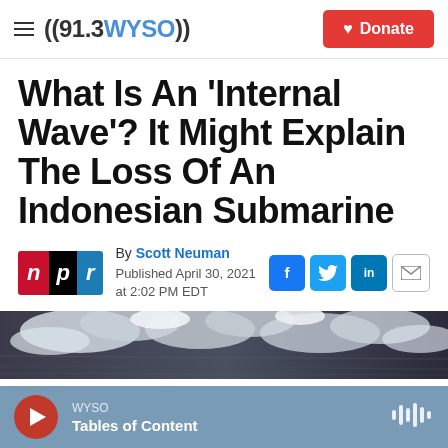((91.3 WYSO)) | Donate
What Is An 'Internal Wave'? It Might Explain The Loss Of An Indonesian Submarine
By Scott Neuman
Published April 30, 2021 at 2:02 PM EDT
[Figure (photo): Satellite image of water/ocean surface with cloud formations]
WYSO
Tables of Content